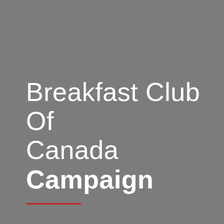Breakfast Club Of Canada Campaign